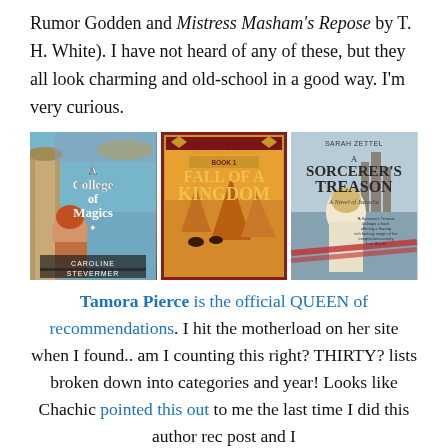Rumor Godden and Mistress Masham's Repose by T. H. White). I have not heard of any of these, but they all look charming and old-school in a good way. I'm very curious.
[Figure (photo): Three fantasy/YA book covers side by side: 'A College of Magics' by Caroline Stevermer, 'Fall of a Kingdom' (The Farsala Trilogy Book 1) by Hilari Bell, and 'A Sorcerer's Treason: A Novel of Isavalta' by Sarah Zettel.]
Tamora Pierce is the official QUEEN of recommendations. I hit the motherload on her site when I found.. am I counting this right? THIRTY? lists broken down into categories and year! Looks like Chachic pointed this out to me the last time I did this author rec post and I